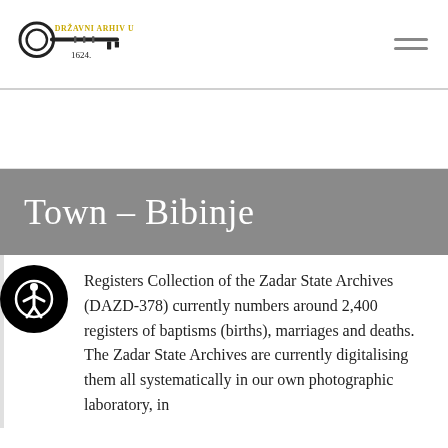[Figure (logo): Državni Arhiv u Zadru logo with a key image and the text 'Državni Arhiv u Zadru 1624.']
Town – Bibinje
Registers Collection of the Zadar State Archives (DAZD-378) currently numbers around 2,400 registers of baptisms (births), marriages and deaths. The Zadar State Archives are currently digitalising them all systematically in our own photographic laboratory, in